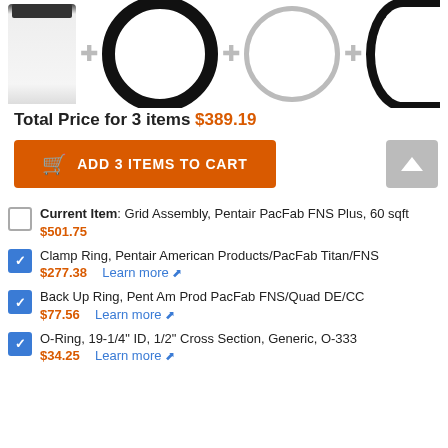[Figure (photo): Product images showing: filter cartridge, black clamp ring (circle), gray back up ring (circle), black O-ring (partial circle), connected by plus signs]
Total Price for 3 items $389.19
ADD 3 ITEMS TO CART
Current Item: Grid Assembly, Pentair PacFab FNS Plus, 60 sqft $501.75
Clamp Ring, Pentair American Products/PacFab Titan/FNS $277.38 Learn more
Back Up Ring, Pent Am Prod PacFab FNS/Quad DE/CC $77.56 Learn more
O-Ring, 19-1/4" ID, 1/2" Cross Section, Generic, O-333 $34.25 Learn more